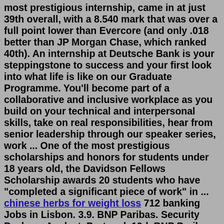most prestigious internship, came in at just 39th overall, with a 8.540 mark that was over a full point lower than Evercore (and only .018 better than JP Morgan Chase, which ranked 40th). An internship at Deutsche Bank is your steppingstone to success and your first look into what life is like on our Graduate Programme. You'll become part of a collaborative and inclusive workplace as you build on your technical and interpersonal skills, take on real responsibilities, hear from senior leadership through our speaker series, work ... One of the most prestigious scholarships and honors for students under 18 years old, the Davidson Fellows Scholarship awards 20 students who have "completed a significant piece of work" in ... chinese herbs for weight loss 712 banking Jobs in Lisbon. 3.9. BNP Paribas. Security Package Analyst. Portugal. 19d. BNP Paribas is a leader in the Eurozone, and a prominent international banking institution with strong roots in Europe's banking history..... 3.9. BNP Paribas.Many programs have an internship built-in during the summer